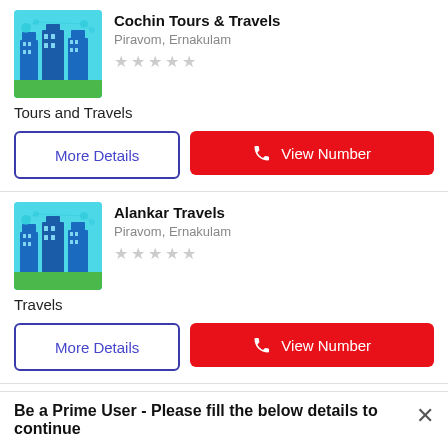Cochin Tours & Travels
Piravom, Ernakulam
Tours and Travels
More Details
View Number
Alankar Travels
Piravom, Ernakulam
Travels
More Details
View Number
Be a Prime User - Please fill the below details to continue